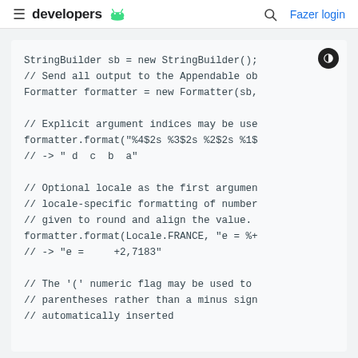≡ developers 🤖   🔍 Fazer login
[Figure (screenshot): Android Developers documentation screenshot showing a code block with Java Formatter examples including StringBuilder, format with explicit argument indices, locale-specific formatting with Locale.FRANCE, and numeric flag with parentheses.]